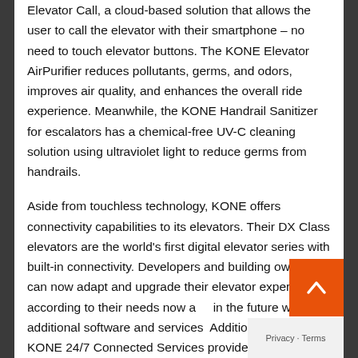Elevator Call, a cloud-based solution that allows the user to call the elevator with their smartphone – no need to touch elevator buttons. The KONE Elevator AirPurifier reduces pollutants, germs, and odors, improves air quality, and enhances the overall ride experience. Meanwhile, the KONE Handrail Sanitizer for escalators has a chemical-free UV-C cleaning solution using ultraviolet light to reduce germs from handrails.
Aside from touchless technology, KONE offers connectivity capabilities to its elevators. Their DX Class elevators are the world's first digital elevator series with built-in connectivity. Developers and building owners can now adapt and upgrade their elevator experience according to their needs now and in the future with additional software and services. Additionally, the KONE 24/7 Connected Services provides valuable information on upcoming